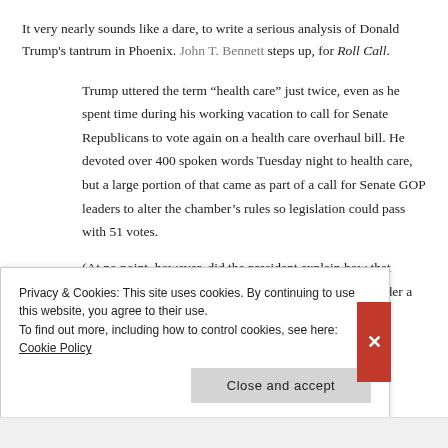It very nearly sounds like a dare, to write a serious analysis of Donald Trump's tantrum in Phoenix. John T. Bennett steps up, for Roll Call.
Trump uttered the term “health care” just twice, even as he spent time during his working vacation to call for Senate Republicans to vote again on a health care overhaul bill. He devoted over 400 spoken words Tuesday night to health care, but a large portion of that came as part of a call for Senate GOP leaders to alter the chamber’s rules so legislation could pass with 51 votes.
(At no point, however, did the president explain how that would help pass the GOP health care bill, which died under a 51...
Privacy & Cookies: This site uses cookies. By continuing to use this website, you agree to their use.
To find out more, including how to control cookies, see here: Cookie Policy